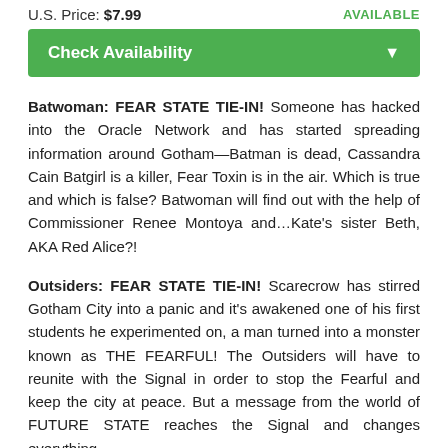U.S. Price: $7.99   AVAILABLE
Check Availability
Batwoman: FEAR STATE TIE-IN! Someone has hacked into the Oracle Network and has started spreading information around Gotham—Batman is dead, Cassandra Cain Batgirl is a killer, Fear Toxin is in the air. Which is true and which is false? Batwoman will find out with the help of Commissioner Renee Montoya and…Kate's sister Beth, AKA Red Alice?!
Outsiders: FEAR STATE TIE-IN! Scarecrow has stirred Gotham City into a panic and it's awakened one of his first students he experimented on, a man turned into a monster known as THE FEARFUL! The Outsiders will have to reunite with the Signal in order to stop the Fearful and keep the city at peace. But a message from the world of FUTURE STATE reaches the Signal and changes everything.